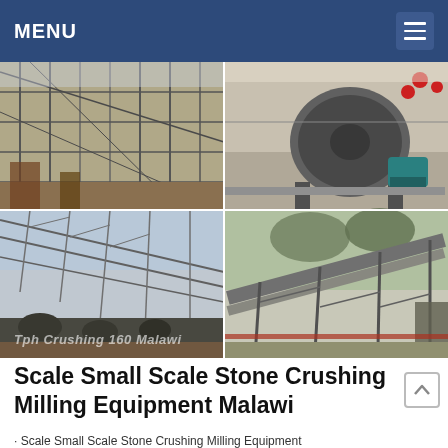MENU
[Figure (photo): Four-panel photo grid showing industrial stone crushing and milling equipment: top-left shows steel framework/scaffolding at a construction site, top-right shows a large industrial drum/mill machine in a factory, bottom-left shows conveyor belt machinery under a steel roof structure, bottom-right shows an outdoor conveyor belt system at a quarry/crushing plant.]
Tph Crushing 160 Malawi
Scale Small Scale Stone Crushing Milling Equipment Malawi
· Scale Small Scale Stone Crushing Milling Equipment